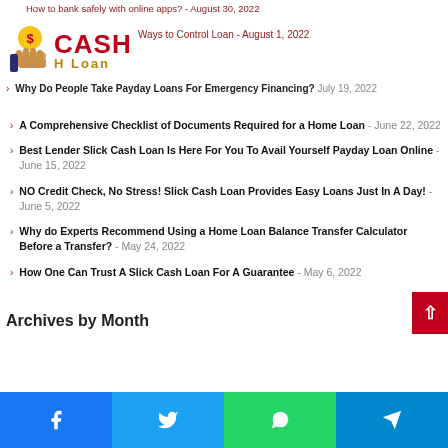[Figure (logo): Cash H Loan logo with coin/hand icon, red CASH text and gold H Loan text]
Why Do People Take Payday Loans For Emergency Financing? - July 19, 2022
A Comprehensive Checklist of Documents Required for a Home Loan - June 22, 2022
Best Lender Slick Cash Loan Is Here For You To Avail Yourself Payday Loan Online - June 15, 2022
NO Credit Check, No Stress! Slick Cash Loan Provides Easy Loans Just In A Day! - June 5, 2022
Why do Experts Recommend Using a Home Loan Balance Transfer Calculator Before a Transfer? - May 24, 2022
How One Can Trust A Slick Cash Loan For A Guarantee - May 6, 2022
Archives by Month